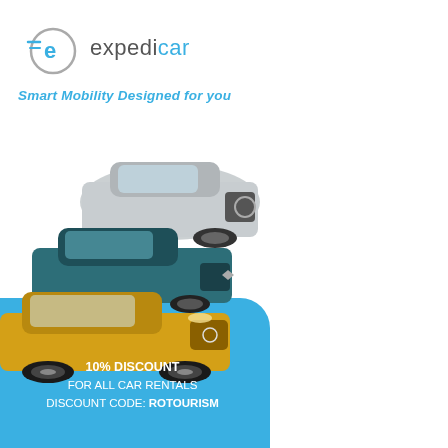[Figure (logo): Expedicar logo with circular 'e' icon and lines, grey circle, blue 'e' letter with lines]
Smart Mobility Designed for you
[Figure (photo): Three cars stacked: silver Mercedes GLE SUV on top, dark teal Renault in middle, yellow Peugeot 208 on bottom with blue background behind lower portion]
10% DISCOUNT
FOR ALL CAR RENTALS
DISCOUNT CODE: ROTOURISM